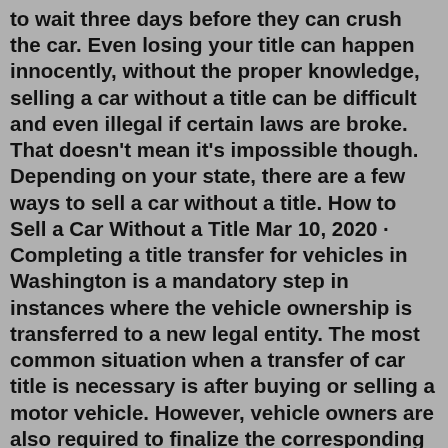to wait three days before they can crush the car. Even losing your title can happen innocently, without the proper knowledge, selling a car without a title can be difficult and even illegal if certain laws are broke. That doesn't mean it's impossible though. Depending on your state, there are a few ways to sell a car without a title. How to Sell a Car Without a Title Mar 10, 2020 · Completing a title transfer for vehicles in Washington is a mandatory step in instances where the vehicle ownership is transferred to a new legal entity. The most common situation when a transfer of car title is necessary is after buying or selling a motor vehicle. However, vehicle owners are also required to finalize the corresponding WA title ... Sep 21, 2020 · Take the title (certificate of ownership) with you. File your Report of Sale. Your buyer must apply to be the registered owner. You and the buyer should apply for a new title saying the buyer is the registered owner and you are the legal owner. The Department will issue and send you a new title. Replacing a missing title for a junk car in Texas can be tricky especially in